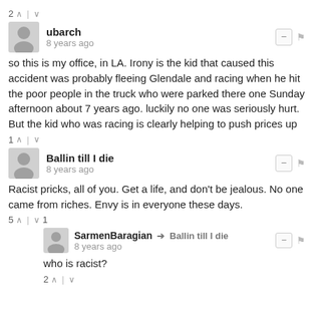2 ∧ | ∨
ubarch
8 years ago
so this is my office, in LA. Irony is the kid that caused this accident was probably fleeing Glendale and racing when he hit the poor people in the truck who were parked there one Sunday afternoon about 7 years ago. luckily no one was seriously hurt. But the kid who was racing is clearly helping to push prices up
1 ∧ | ∨
Ballin till I die
8 years ago
Racist pricks, all of you. Get a life, and don't be jealous. No one came from riches. Envy is in everyone these days.
5 ∧ | ∨ 1
SarmenBaragian → Ballin till I die
8 years ago
who is racist?
2 ∧ | ∨